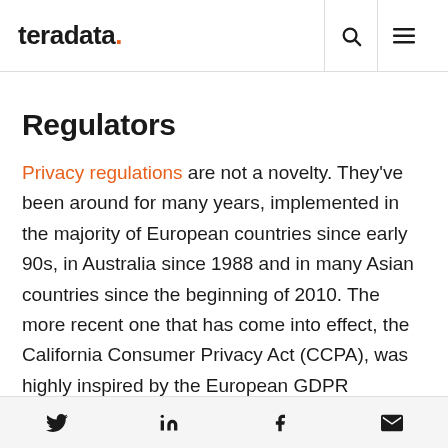teradata.
Regulators
Privacy regulations are not a novelty. They've been around for many years, implemented in the majority of European countries since early 90s, in Australia since 1988 and in many Asian countries since the beginning of 2010. The more recent one that has come into effect, the California Consumer Privacy Act (CCPA), was highly inspired by the European GDPR (General Data
Twitter LinkedIn Facebook Email